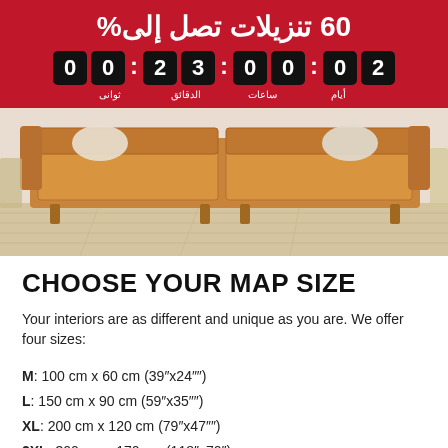60 تنزيلات تصل إلى%
00 23:00:02 — أيام ساعات الدقائق ثوانى
[Figure (photo): Tan leather sofa on light wood floor with cushions and side furniture]
CHOOSE YOUR MAP SIZE
Your interiors are as different and unique as you are. We offer four sizes:
M: 100 cm x 60 cm (39"x24"")
L: 150 cm x 90 cm (59"x35"")
XL: 200 cm x 120 cm (79"x47"")
2XL: 300 cm x 170 cm (118"x70")